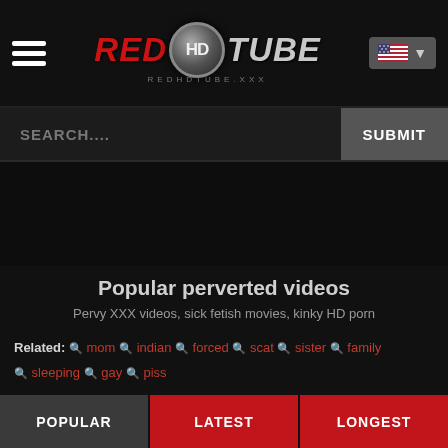[Figure (logo): RedHDTube website logo with hamburger menu and US flag language selector]
SEARCH....
Popular perverted videos
Pervy XXX videos, sick fetish movies, kinky HD porn
Related: mom indian forced scat sister family sleeping gay piss
POPULAR | LATEST | LONGEST
1 2 3 4 5 NEXT